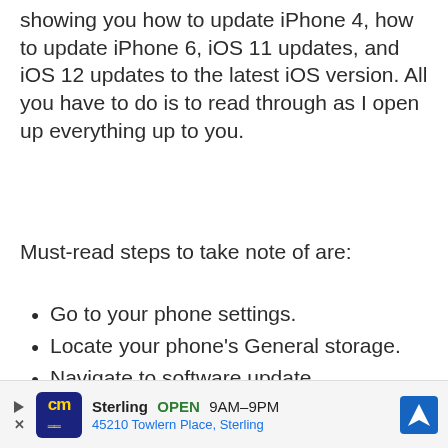showing you how to update iPhone 4, how to update iPhone 6, iOS 11 updates, and iOS 12 updates to the latest iOS version. All you have to do is to read through as I open up everything up to you.
Must-read steps to take note of are:
Go to your phone settings.
Locate your phone's General storage.
Navigate to software update.
Delete software update entirely.
[Figure (screenshot): Advertisement banner for Sterling business showing logo, OPEN 9AM-9PM, 45210 Towlern Place Sterling, with navigation arrow icon]